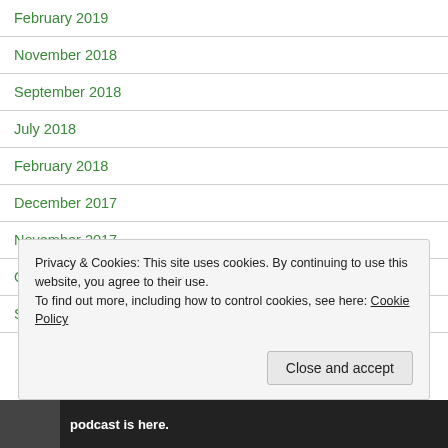February 2019
November 2018
September 2018
July 2018
February 2018
December 2017
November 2017
October 2017
September 2017
Privacy & Cookies: This site uses cookies. By continuing to use this website, you agree to their use.
To find out more, including how to control cookies, see here: Cookie Policy
Close and accept
podcast is here.